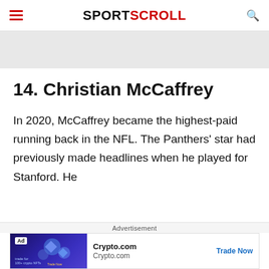SPORTSCROLL
14. Christian McCaffrey
In 2020, McCaffrey became the highest-paid running back in the NFL. The Panthers' star had previously made headlines when he played for Stanford. He
Advertisement
[Figure (other): Crypto.com advertisement banner with dark blue background, Ad badge, Crypto.com logo text, and Trade Now CTA link]